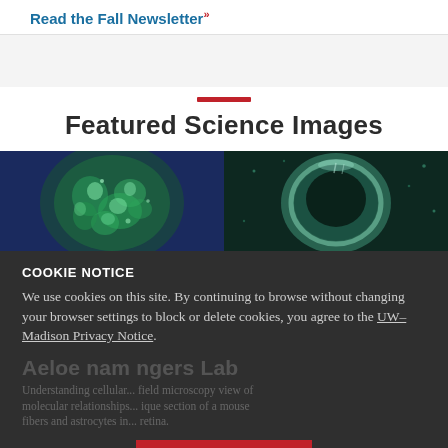Read the Fall Newsletter »
Featured Science Images
[Figure (photo): Two science microscopy images side by side: left shows a green fluorescent organoid/cell cluster on dark blue background; right shows a cross-section of a circular structure (possibly an eye or tissue) on dark green background.]
COOKIE NOTICE
We use cookies on this site. By continuing to browse without changing your browser settings to block or delete cookies, you agree to the UW–Madison Privacy Notice.
Aeloe nam ... ngers Lab
Understanding cellular ... field microscopy view of molecular relationships ... ique section of a mouse fibers and astrocytes in ... retina.
GOT IT!